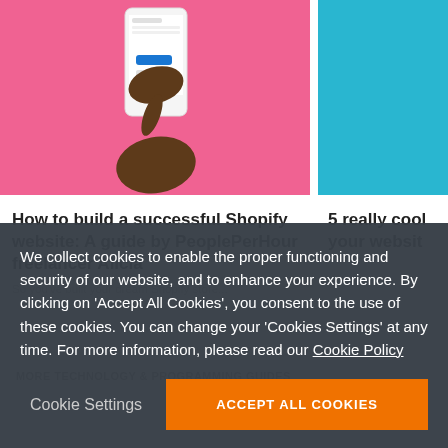[Figure (photo): Hands holding a smartphone with a pink background — left card image]
[Figure (photo): Teal/blue background — right card image (partially visible)]
How to build a successful Shopify website: A guide by PeoplePerHour freelancer Alicia
5 really cool your websit
So you've built your dream Shopify store...
MORE TECHNOLOGY & PROGRAMMING GUIDES
We collect cookies to enable the proper functioning and security of our website, and to enhance your experience. By clicking on 'Accept All Cookies', you consent to the use of these cookies. You can change your 'Cookies Settings' at any time. For more information, please read our Cookie Policy